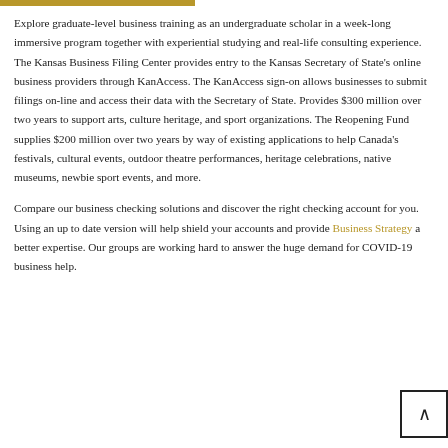Explore graduate-level business training as an undergraduate scholar in a week-long immersive program together with experiential studying and real-life consulting experience. The Kansas Business Filing Center provides entry to the Kansas Secretary of State’s online business providers through KanAccess. The KanAccess sign-on allows businesses to submit filings on-line and access their data with the Secretary of State. Provides $300 million over two years to support arts, culture heritage, and sport organizations. The Reopening Fund supplies $200 million over two years by way of existing applications to help Canada’s festivals, cultural events, outdoor theatre performances, heritage celebrations, native museums, newbie sport events, and more.
Compare our business checking solutions and discover the right checking account for you. Using an up to date version will help shield your accounts and provide Business Strategy a better expertise. Our groups are working hard to answer the huge demand for COVID-19 business help.